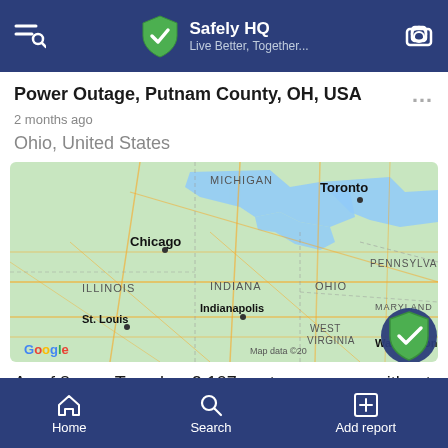Safely HQ — Live Better, Together...
Power Outage, Putnam County, OH, USA
2 months ago
Ohio, United States
[Figure (map): Google map showing Midwest/Eastern US region including Michigan, Illinois, Indiana, Ohio, Pennsylvania, Maryland, West Virginia, with cities Chicago, Toronto, Indianapolis, St. Louis, Washington. Map data ©20...]
As of 8 a.m. Tuesday, 2,107 customers were without
Home  Search  Add report